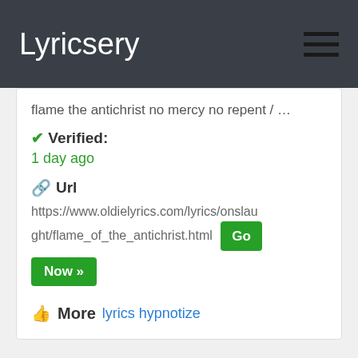Lyricsery
flame the antichrist no mercy no repent / …
✔ Verified:
1 day ago
🔗 Url
https://www.oldielyrics.com/lyrics/onslaught/flame_of_the_antichrist.html  Go Now »
👍 More  lyrics hypnotize